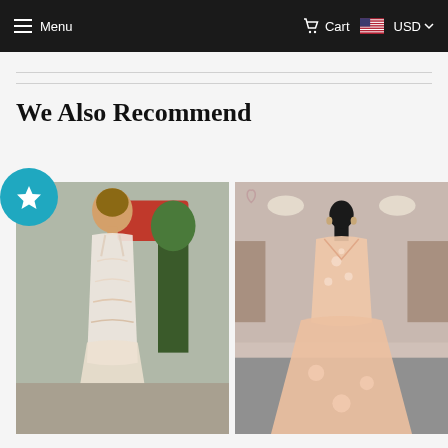Menu  Cart  USD
We Also Recommend
[Figure (photo): Left product photo: woman in white lace spaghetti-strap dress outdoors]
[Figure (photo): Right product photo: mannequin in blush ball gown in bridal shop]